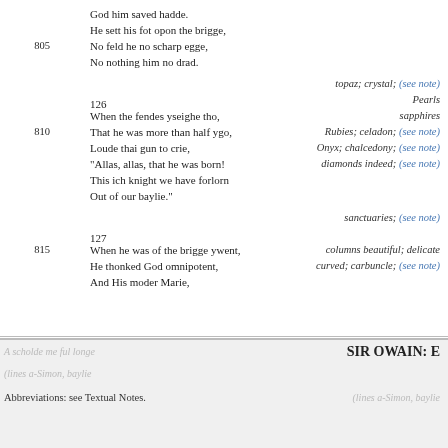God him saved hadde.
He sett his fot opon the brigge,
805    No feld he no scharp egge,
No nothing him no drad.
topaz; crystal; (see note)
126    Pearls
When the fendes yseighe tho,    sapphires
810    That he was more than half ygo,    Rubies; celadon; (see note)
Loude thai gun to crie,    Onyx; chalcedony; (see note)
"Allas, allas, that he was born!    diamonds indeed; (see note)
This ich knight we have forlorn
Out of our baylie."
sanctuaries; (see note)
127
815    When he was of the brigge ywent,    columns beautiful; delicate
He thonked God omnipotent,    curved; carbuncle; (see note)
And His moder Marie,
SIR OWAIN: E
Abbreviations: see Textual Notes.